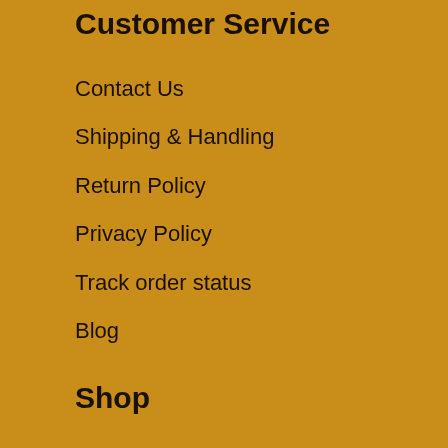Customer Service
Contact Us
Shipping & Handling
Return Policy
Privacy Policy
Track order status
Blog
Shop
About Us
Reviews
Sizing guide
Want 15% off ?
Shop